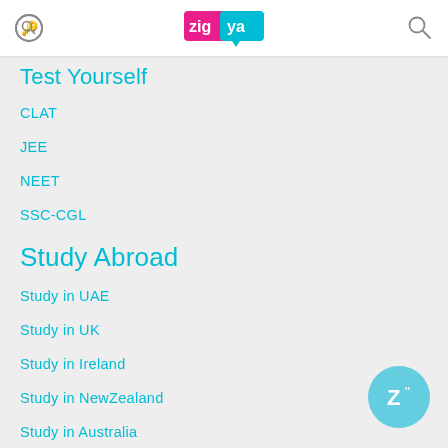Zigya
Test Yourself
CLAT
JEE
NEET
SSC-CGL
Study Abroad
Study in UAE
Study in UK
Study in Ireland
Study in NewZealand
Study in Australia